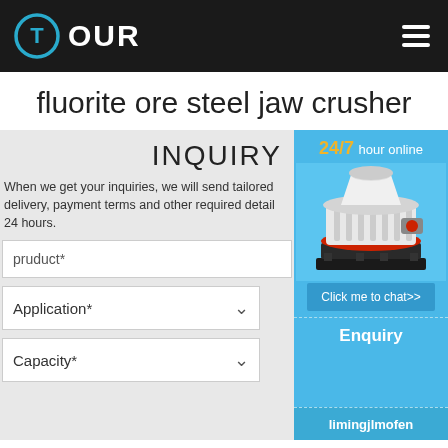T OUR
fluorite ore steel jaw crusher
INQUIRY
When we get your inquiries, we will send tailored delivery, payment terms and other required detail 24 hours.
pruduct*
Application*
Capacity*
[Figure (illustration): Industrial cone crusher machine on blue background with 24/7 hour online text, Chat button, Enquiry section, and limingjlmofen text]